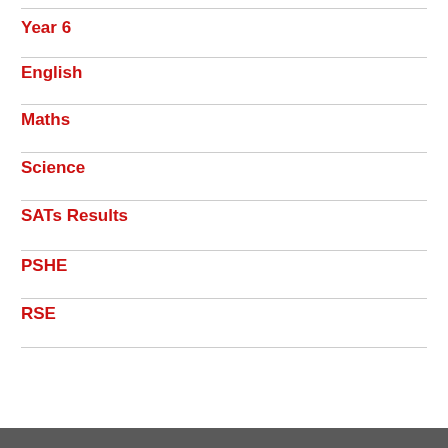Year 6
English
Maths
Science
SATs Results
PSHE
RSE